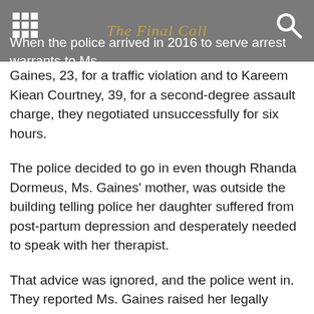The Final Call
When the police arrived in 2016 to serve arrest warrants to Ms. Gaines, 23, for a traffic violation and to Kareem Kiean Courtney, 39, for a second-degree assault charge, they negotiated unsuccessfully for six hours.
The police decided to go in even though Rhanda Dormeus, Ms. Gaines' mother, was outside the building telling police her daughter suffered from post-partum depression and desperately needed to speak with her therapist.
That advice was ignored, and the police went in. They reported Ms. Gaines raised her legally obtained shotgun and threatened them. An officer fired and Ms. Gaines returned fire missing police. Cpl. Ruby then fired three rounds killing Ms. Gaines and hitting five-year-old son Kodi in the elbow and cheek. In Cpl. Ruby's sworn testimony, he stated he was aiming for Ms. Gaines' head.
Instead of honoring the jury's wrongful death award, County